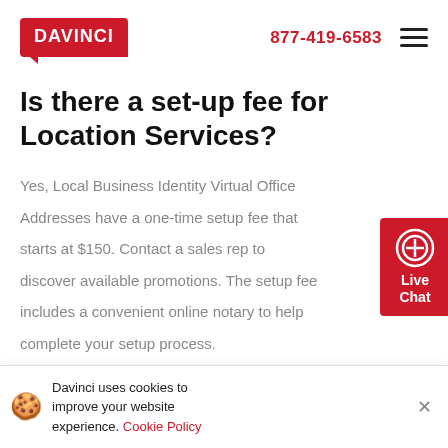DAVINCI | 877-419-6583
Is there a set-up fee for Location Services?
Yes, Local Business Identity Virtual Office Addresses have a one-time setup fee that starts at $150. Contact a sales rep to discover available promotions. The setup fee includes a convenient online notary to help complete your setup process.
If I need this address to
Davinci uses cookies to improve your website experience. Cookie Policy